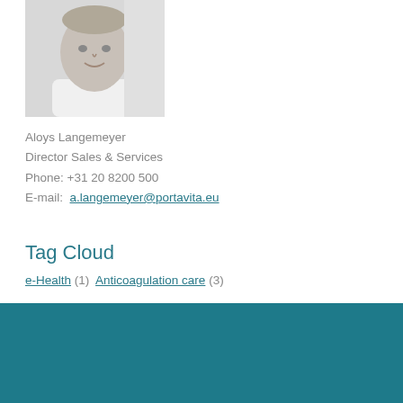[Figure (photo): Black and white portrait photo of a middle-aged man smiling, wearing a light-colored shirt, cropped at upper body]
Aloys Langemeyer
Director Sales & Services
Phone: +31 20 8200 500
E-mail: a.langemeyer@portavita.eu
Tag Cloud
e-Health (1)  Anticoagulation care (3)
Quick Links
Partner strategy
Generic ICS
Care Management Solutions